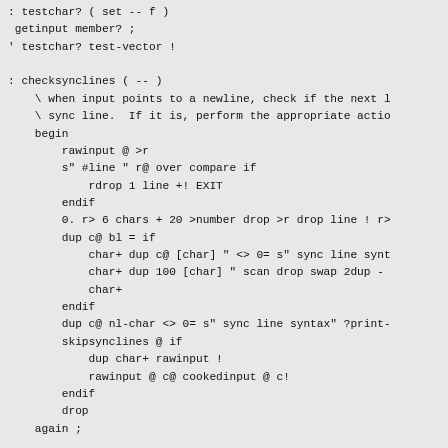: testchar? ( set -- f )
 getinput member? ;
' testchar? test-vector !

: checksynclines ( -- )
    \ when input points to a newline, check if the next l
    \ sync line.  If it is, perform the appropriate actio
    begin
        rawinput @ >r
        s" #line " r@ over compare if
            rdrop 1 line +! EXIT
        endif
        0. r> 6 chars + 20 >number drop >r drop line ! r>
        dup c@ bl = if
            char+ dup c@ [char] " <> 0= s" sync line synt
            char+ dup 100 [char] " scan drop swap 2dup -
            char+
        endif
        dup c@ nl-char <> 0= s" sync line syntax" ?print-
        skipsynclines @ if
            dup char+ rawinput !
            rawinput @ c@ cookedinput @ c!
        endif
        drop
    again ;

: ?nextchar ( f -- )
    s" syntax error, wrong char" ?print-error
    rawinput @ endrawinput @ <> if